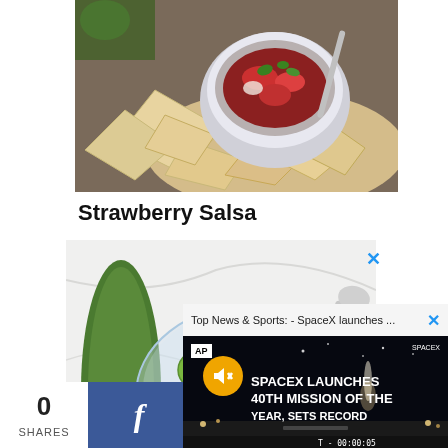[Figure (photo): Bowl of strawberry salsa surrounded by tortilla chips on a wooden surface]
Strawberry Salsa
[Figure (photo): Glass bowl of cucumber and tomato salad with a spoon, fresh tomatoes on the side on a white marble surface, with a close X button overlay]
[Figure (screenshot): Video popup overlay: 'Top News & Sports: - SpaceX launches ...' with AP logo, mute button, text reading 'SPACEX LAUNCHES 40TH MISSION OF THE YEAR, SETS RECORD' and timer T-00:00:05]
0
SHARES